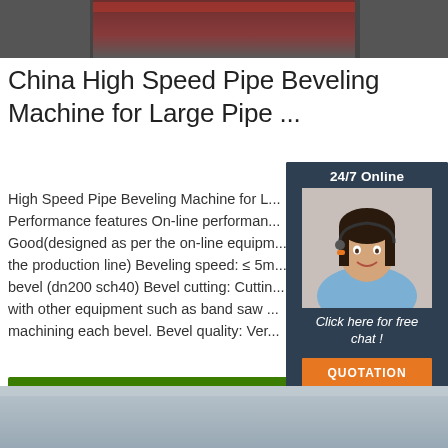[Figure (photo): Top portion of a pipe beveling machine visible at the top of the page, showing red/brown colored industrial equipment]
China High Speed Pipe Beveling Machine for Large Pipe ...
High Speed Pipe Beveling Machine for L... Performance features On-line performance: Good(designed as per the on-line equipm... the production line) Beveling speed: ≤ 5m... bevel (dn200 sch40) Bevel cutting: Cuttin... with other equipment such as band saw ... machining each bevel. Bevel quality: Ver...
[Figure (photo): Customer service representative with headset smiling, part of 24/7 online chat widget overlay in dark blue box]
[Figure (photo): Bottom gray industrial/outdoor photo, partially visible at bottom of page]